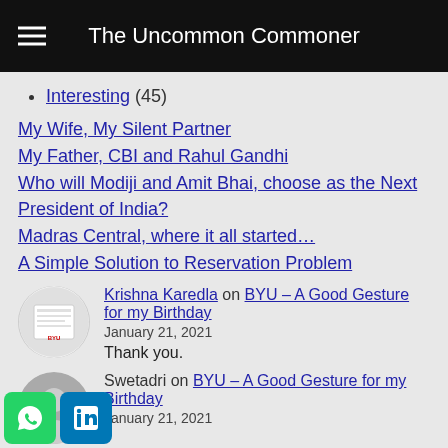The Uncommon Commoner
Interesting (45)
My Wife, My Silent Partner
My Father, CBI and Rahul Gandhi
Who will Modiji and Amit Bhai, choose as the Next President of India?
Madras Central, where it all started…
A Simple Solution to Reservation Problem
Krishna Karedla on BYU – A Good Gesture for my Birthday
January 21, 2021
Thank you.
Swetadri on BYU – A Good Gesture for my Birthday
January 21, 2021